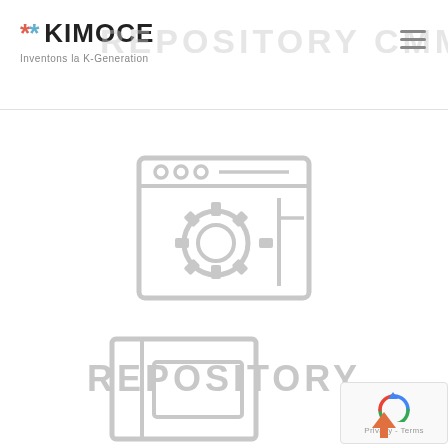KIMOCE — Inventons la K-Generation | REPOSITORY CMMS
[Figure (illustration): Browser window icon with gear/settings cog in the center, light gray outline style, representing a web-based CMMS repository interface]
REPOSITORY
[Figure (illustration): Partially visible icon of a form/document with a sidebar, light gray outline style, at the bottom of the page]
[Figure (illustration): reCAPTCHA badge with Google logo and 'Privacy - Terms' text]